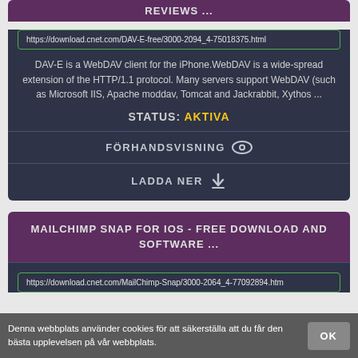REVIEWS ...
https://download.cnet.com/DAV-E-free/3000-2094_4-75018375.html
DAV-E is a WebDAV client for the iPhone.WebDAV is a wide-spread extension of the HTTP/1.1 protocol. Many servers support WebDAV (such as Microsoft IIS, Apache moddav, Tomcat and Jackrabbit, Xythos ...
STATUS: AKTIVA
FÖRHANDSVISNING
LADDA NER
MAILCHIMP SNAP FOR IOS - FREE DOWNLOAD AND SOFTWARE ...
https://download.cnet.com/MailChimp-Snap/3000-2064_4-77092894.htm
Denna webbplats använder cookies för att säkerställa att du får den bästa upplevelsen på vår webbplats.